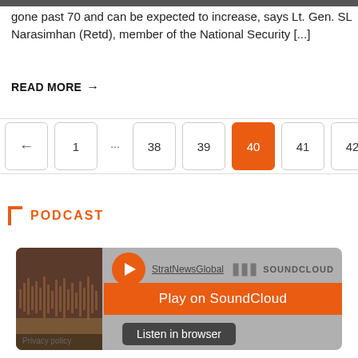gone past 70 and can be expected to increase, says Lt. Gen. SL Narasimhan (Retd), member of the National Security [...]
READ MORE →
[Figure (other): Pagination navigation bar showing pages: ← 1 ... 38 39 40 (active/highlighted in orange) 41 42 43 →]
PODCAST
[Figure (screenshot): SoundCloud embedded player widget showing StratNewsGlobal podcast with Play on SoundCloud button and Listen in browser button]